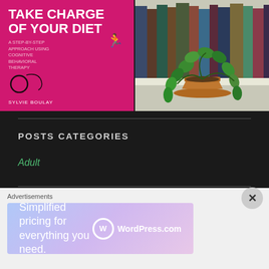[Figure (photo): Photo of a pink book cover titled 'Take Charge of Your Diet' by Sylvie Boulay, lying on white fabric]
[Figure (photo): Photo of a terracotta pot with green trailing ivy plant on a bookshelf with books]
POSTS CATEGORIES
Adult
[Figure (screenshot): WordPress.com advertisement banner: 'Simplified pricing for everything you need.']
Advertisements